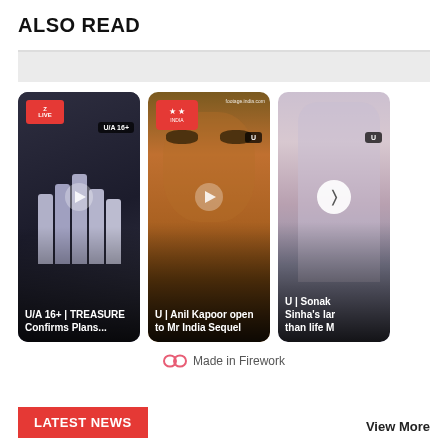ALSO READ
[Figure (screenshot): Three video thumbnail cards in a row. Card 1: Group photo of 5 people in white outfits on dark background, labeled 'U/A 16+ | TREASURE Confirms Plans...'. Card 2: Close-up face of a man (Anil Kapoor), labeled 'U | Anil Kapoor open to Mr India Sequel'. Card 3: Woman in white top and jeans, labeled 'U | Sonakshi Sinha's lar... than life M...']
Made in Firework
LATEST NEWS
View More